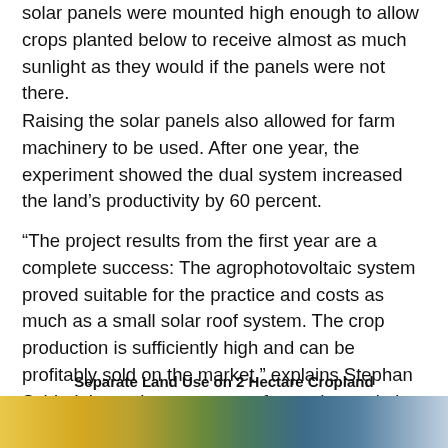solar panels were mounted high enough to allow crops planted below to receive almost as much sunlight as they would if the panels were not there.
Raising the solar panels also allowed for farm machinery to be used. After one year, the experiment showed the dual system increased the land's productivity by 60 percent.
“The project results from the first year are a complete success: The agrophotovoltaic system proved suitable for the practice and costs as much as a small solar roof system. The crop production is sufficiently high and can be profitably sold on the market,” explains Stephan Schindele, project manager of agrophotovoltaics at Fraunhofer ISE.
Separate Land Use on 2 Hectare Cropland
[Figure (photo): Partial view of a cropland photo strip showing agricultural field with solar panels, colorful landscape band at bottom of page.]